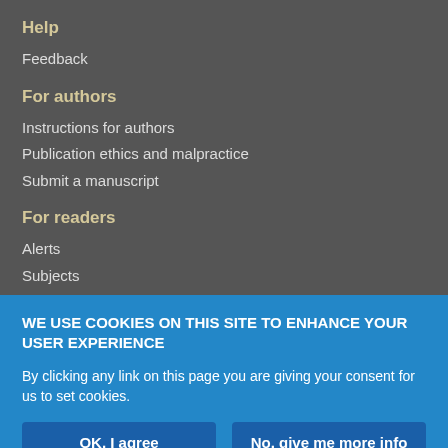Help
Feedback
For authors
Instructions for authors
Publication ethics and malpractice
Submit a manuscript
For readers
Alerts
Subjects
WE USE COOKIES ON THIS SITE TO ENHANCE YOUR USER EXPERIENCE
By clicking any link on this page you are giving your consent for us to set cookies.
OK, I agree
No, give me more info